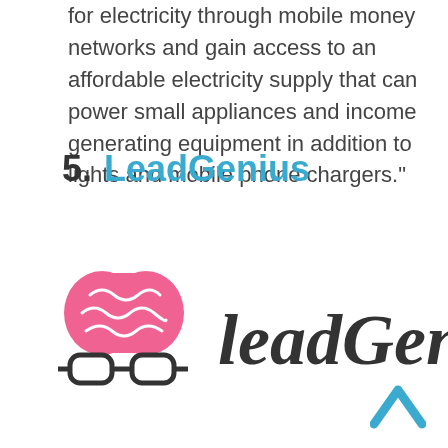for electricity through mobile money networks and gain access to an affordable electricity supply that can power small appliances and income generating equipment in addition to lights and mobile phone chargers.”
5. LeadGenius
[Figure (logo): LeadGenius logo: a pink brain wearing glasses on the left, and 'leadGenius' in dark script lettering on the right]
[Figure (other): A cyan/blue upward chevron arrow in the bottom right corner]